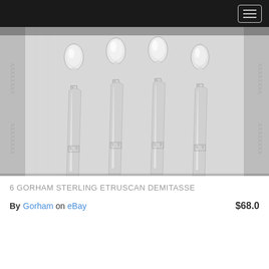Navigation header bar with menu button
[Figure (photo): Six Gorham sterling silver Etruscan demitasse spoons laid out on a white embroidered cloth. The spoons are arranged with handles pointing downward, showing Greek key pattern decoration near the bowl junction. The spoons are highly polished and reflective.]
6 GORHAM STERLING ETRUSCAN DEMITASSE
By Gorham on eBay  $68.0